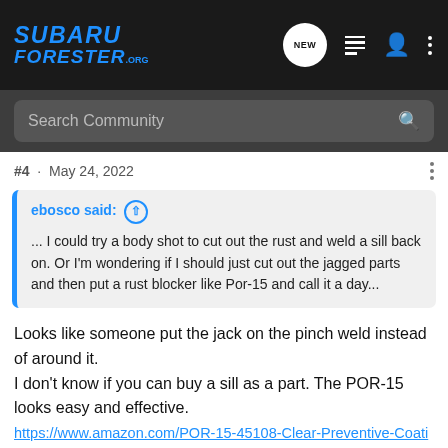SUBARU FORESTER.ORG
Search Community
#4 · May 24, 2022
ebosco said: ↑ ... I could try a body shot to cut out the rust and weld a sill back on. Or I'm wondering if I should just cut out the jagged parts and then put a rust blocker like Por-15 and call it a day...
Looks like someone put the jack on the pinch weld instead of around it.
I don't know if you can buy a sill as a part. The POR-15 looks easy and effective.
https://www.amazon.com/POR-15-45108-Clear-Preventive-Coating/dp/B00J6D244W/ref=asc_df_B00J6D244W/?tag=hyp...20&link...etw=g&
[Figure (advertisement): Overland Expo East 2022 advertisement banner. October 7-9, Arrington, VA. Plan Your Adventure button. Shows archery/bow icon on dark background.]